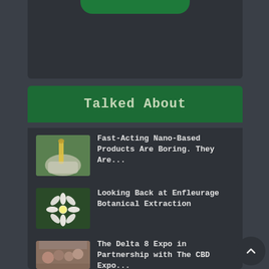[Figure (photo): Top card area with green rounded button, dark background panel]
Talked About
[Figure (photo): Close-up of a gloved hand holding a dropper with yellow CBD/cannabis oil over a small bottle, green background]
Fast-Acting Nano-Based Products Are Boring. They Are...
[Figure (photo): White flower blossoms against a dark green leafy background]
Looking Back at Enfleurage Botanical Extraction
[Figure (photo): Outdoor crowd scene with people at an expo event]
The Delta 8 Expo in Partnership with The CBD Expo...